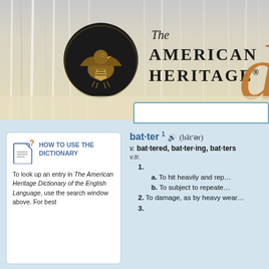[Figure (logo): The American Heritage Dictionary banner with eagle logo and large 'di' gold text on curtain background]
The American Heritage di
bat·ter 1 (băt′ər)
v. bat·tered, bat·ter·ing, bat·ters
v.tr.
1.
a. To hit heavily and rep...
b. To subject to repeate...
2. To damage, as by heavy wear...
3.
HOW TO USE THE DICTIONARY
To look up an entry in The American Heritage Dictionary of the English Language, use the search window above. For best